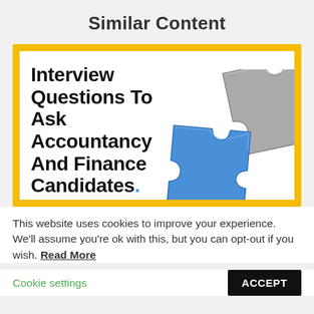Similar Content
[Figure (illustration): Thumbnail image with yellow border and white background showing bold black text 'Interview Questions To Ask Accountancy And Finance Candidates.' with a blue dot, and 3D puzzle pieces (blue and grey) on the right side.]
This website uses cookies to improve your experience. We'll assume you're ok with this, but you can opt-out if you wish. Read More   Cookie settings   ACCEPT